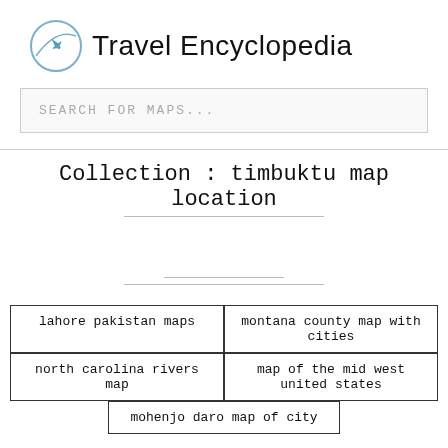Travel Encyclopedia
SEARCH FOR MAPS...
Collection : timbuktu map location
lahore pakistan maps
montana county map with cities
north carolina rivers map
map of the mid west united states
mohenjo daro map of city